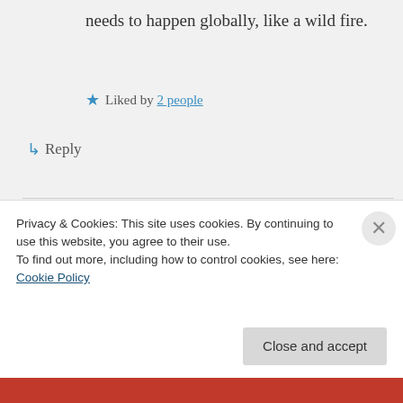needs to happen globally, like a wild fire.
Liked by 2 people
↳ Reply
smilecalm on July 21, 2019 at 10:21 pm
wonderful sharing this hopeful dream. may many be willing to offer selfless service to catalyze its
Privacy & Cookies: This site uses cookies. By continuing to use this website, you agree to their use.
To find out more, including how to control cookies, see here: Cookie Policy
Close and accept